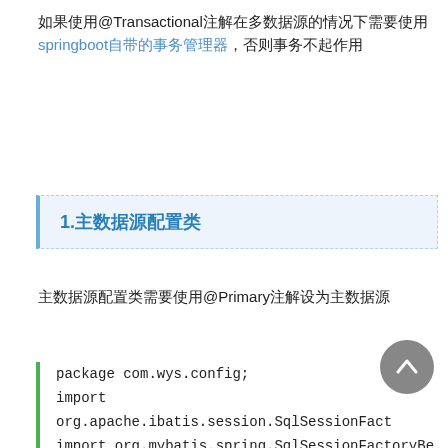如果使用@Transactional注解在多数据源的情况下需要使用springboot自带的事务管理器，否则事务不起作用
1.主数据源配置类
主数据源配置类需要使用@Primary注解设为主数据源
package com.wys.config;
import org.apache.ibatis.session.SqlSessionFact
import org.mybatis.spring.SqlSessionFactoryBe
import org.mybatis.spring.SqlSessionTemplate;
import org.mybatis.spring.annotation.MapperSc
import org.springframework.beans.factory.anno
import org.springframework.beans.factory.anno